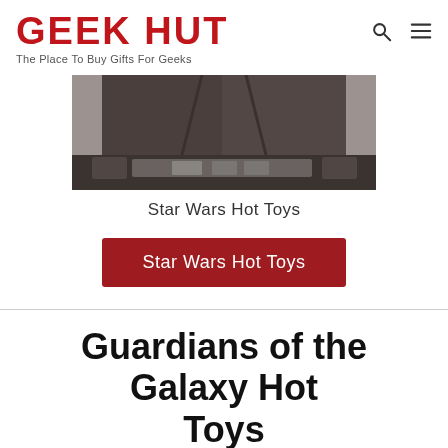GEEK HUT — The Place To Buy Gifts For Geeks
[Figure (photo): Close-up photo of a costume figure's torso showing a dark jacket and detailed belt/holster equipment, partially cropped]
Star Wars Hot Toys
Star Wars Hot Toys
Guardians of the Galaxy Hot Toys